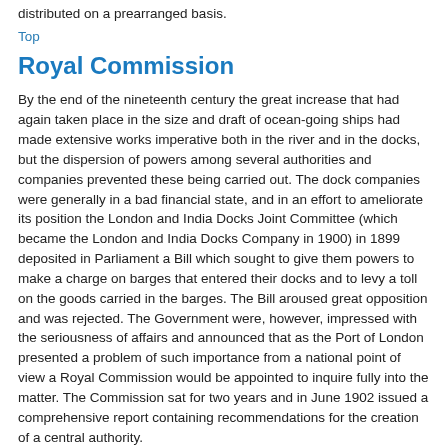distributed on a prearranged basis.
Top
Royal Commission
By the end of the nineteenth century the great increase that had again taken place in the size and draft of ocean-going ships had made extensive works imperative both in the river and in the docks, but the dispersion of powers among several authorities and companies prevented these being carried out. The dock companies were generally in a bad financial state, and in an effort to ameliorate its position the London and India Docks Joint Committee (which became the London and India Docks Company in 1900) in 1899 deposited in Parliament a Bill which sought to give them powers to make a charge on barges that entered their docks and to levy a toll on the goods carried in the barges. The Bill aroused great opposition and was rejected. The Government were, however, impressed with the seriousness of affairs and announced that as the Port of London presented a problem of such importance from a national point of view a Royal Commission would be appointed to inquire fully into the matter. The Commission sat for two years and in June 1902 issued a comprehensive report containing recommendations for the creation of a central authority.
Top
Advent of the PLA